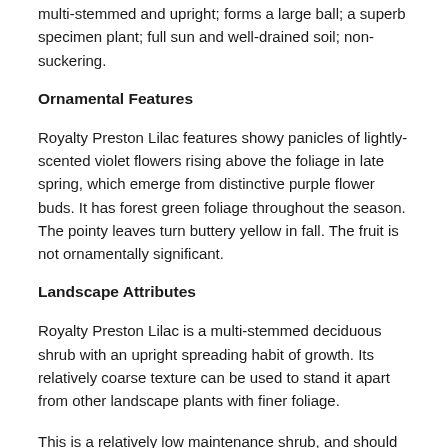multi-stemmed and upright; forms a large ball; a superb specimen plant; full sun and well-drained soil; non-suckering.
Ornamental Features
Royalty Preston Lilac features showy panicles of lightly-scented violet flowers rising above the foliage in late spring, which emerge from distinctive purple flower buds. It has forest green foliage throughout the season. The pointy leaves turn buttery yellow in fall. The fruit is not ornamentally significant.
Landscape Attributes
Royalty Preston Lilac is a multi-stemmed deciduous shrub with an upright spreading habit of growth. Its relatively coarse texture can be used to stand it apart from other landscape plants with finer foliage.
This is a relatively low maintenance shrub, and should only be pruned after flowering to avoid removing any of the current season's flowers. It is a good choice for attracting butterflies to your yard. It has no significant negative characteristics.